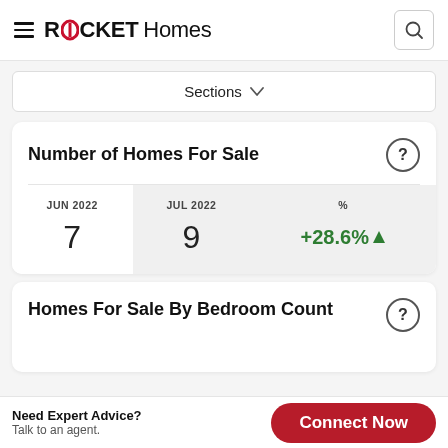ROCKET Homes
Sections
Number of Homes For Sale
| JUN 2022 | JUL 2022 | % |
| --- | --- | --- |
| 7 | 9 | +28.6% |
Homes For Sale By Bedroom Count
Need Expert Advice? Talk to an agent.
Connect Now